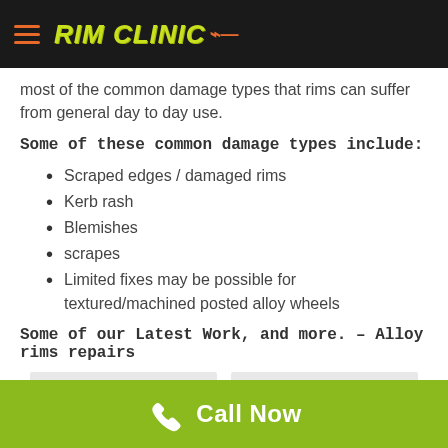RIM CLINIC
most of the common damage types that rims can suffer from general day to day use.
Some of these common damage types include:
Scraped edges / damaged rims
Kerb rash
Blemishes
scrapes
Limited fixes may be possible for textured/machined posted alloy wheels
Some of our Latest Work, and more. – Alloy rims repairs
[Figure (photo): Gallery image placeholder 1]
[Figure (photo): Gallery image placeholder 2]
Call Now